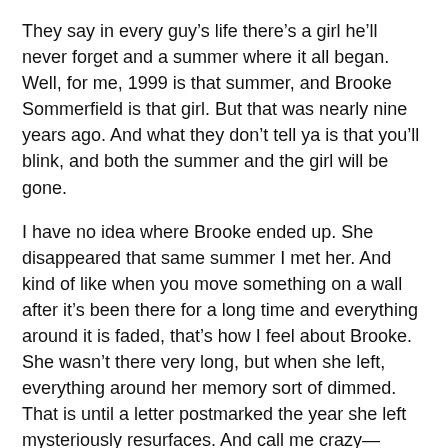They say in every guy's life there's a girl he'll never forget and a summer where it all began. Well, for me, 1999 is that summer, and Brooke Sommerfield is that girl. But that was nearly nine years ago. And what they don't tell ya is that you'll blink, and both the summer and the girl will be gone.
I have no idea where Brooke ended up. She disappeared that same summer I met her. And kind of like when you move something on a wall after it's been there for a long time and everything around it is faded, that's how I feel about Brooke. She wasn't there very long, but when she left, everything around her memory sort of dimmed. That is until a letter postmarked the year she left mysteriously resurfaces. And call me crazy—everyone else has—but I have to find her. I have to know what became of the green-and-gray-eyed girl who stole my last perfect summer. I have to know if she believes in second chances—because I do—even if they do come with good-byes.
My Thoughts…
Laura Miller is an author I have read often and each time I